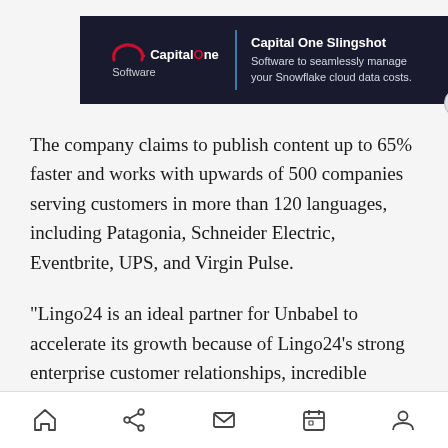[Figure (screenshot): Capital One Software advertisement banner with logo on dark navy background. Left section shows Capital One logo with red swoosh and 'Software' text. Right section shows 'Capital One Slingshot' title with subtitle 'Software to seamlessly manage your Snowflake cloud data costs.' Close button (X) in bottom-right corner.]
The company claims to publish content up to 65% faster and works with upwards of 500 companies serving customers in more than 120 languages, including Patagonia, Schneider Electric, Eventbrite, UPS, and Virgin Pulse.
“Lingo24 is an ideal partner for Unbabel to accelerate its growth because of Lingo24’s strong enterprise customer relationships, incredible talent, and deep expertise in localization,
[Figure (screenshot): Mobile browser bottom navigation bar with home, share, mail, calendar, and user/profile icons.]